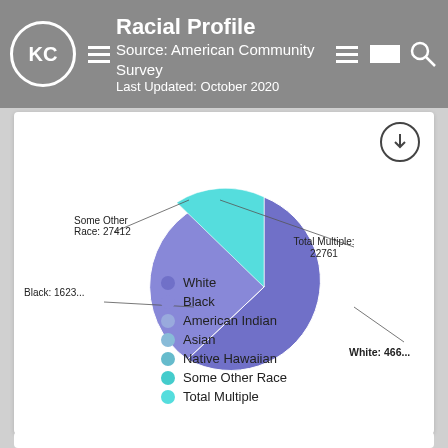Racial Profile
Source: American Community Survey
Last Updated: October 2020
[Figure (pie-chart): Racial Profile]
White
Black
American Indian
Asian
Native Hawaiian
Some Other Race
Total Multiple